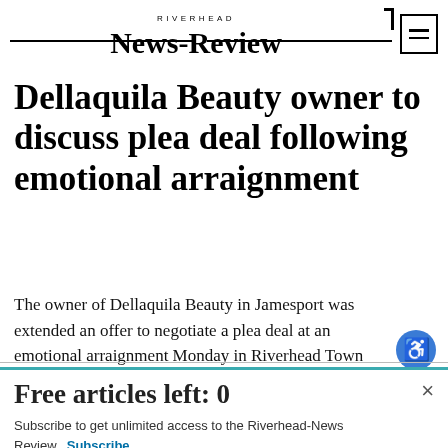RIVERHEAD NEWS-REVIEW
Dellaquila Beauty owner to discuss plea deal following emotional arraignment
The owner of Dellaquila Beauty in Jamesport was extended an offer to negotiate a plea deal at an emotional arraignment Monday in Riverhead Town Justice Court for violating the...
Free articles left: 0
Subscribe to get unlimited access to the Riverhead-News Review. Subscribe Already have an account? Login here